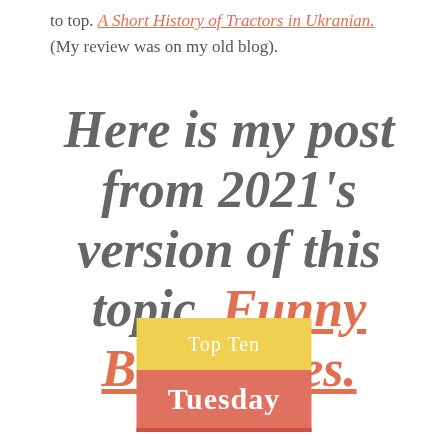to top. A Short History of Tractors in Ukranian. (My review was on my old blog).
Here is my post from 2021's version of this topic. Funny Book Titles.
[Figure (logo): Top Ten Tuesday badge with yellow top section saying 'Top Ten' and salmon/red bottom section saying 'Tuesday']